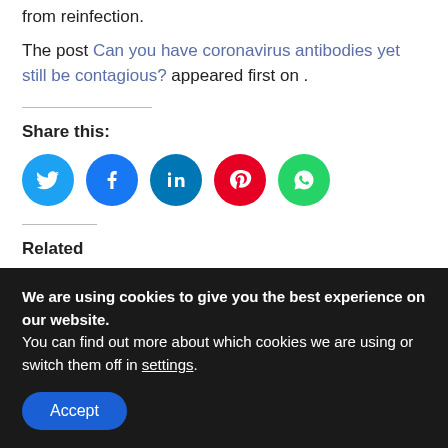from reinfection.
The post Can you have coronavirus antibodies yet still be contagious? appeared first on .
Share this:
[Figure (infographic): Social media share icons: Twitter (blue), Facebook (blue), LinkedIn (dark blue), Pinterest (red), WhatsApp (green)]
Related
[Figure (photo): Two related article thumbnail photos side by side: one showing a person with glasses, one showing a person wearing a USA cap]
We are using cookies to give you the best experience on our website. You can find out more about which cookies we are using or switch them off in settings.